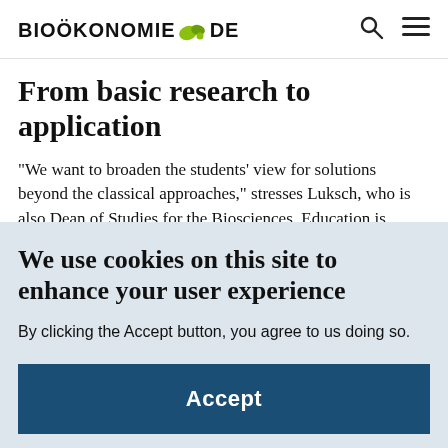BIOÖKONOMIE.DE
From basic research to application
"We want to broaden the students' view for solutions beyond the classical approaches," stresses Luksch, who is also Dean of Studies for the Biosciences. Education is
We use cookies on this site to enhance your user experience
By clicking the Accept button, you agree to us doing so.
Accept